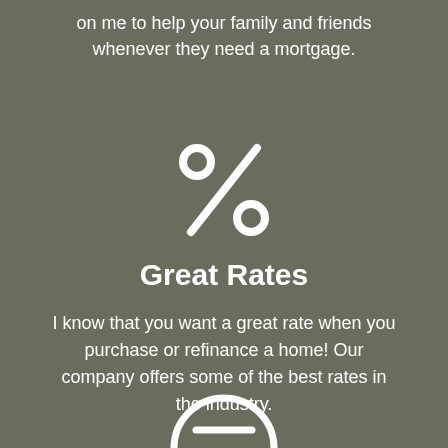on me to help your family and friends whenever they need a mortgage.
[Figure (illustration): Percentage sign icon in white outline style on grey background]
Great Rates
I know that you want a great rate when you purchase or refinance a home! Our company offers some of the best rates in the industry.
[Figure (illustration): Bottom portion of a circular/face icon in white outline style, partially visible at bottom of page]